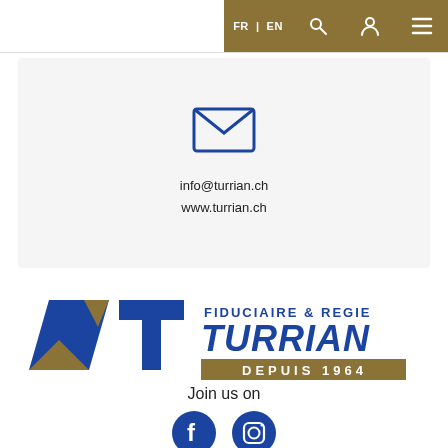FR | EN
[Figure (screenshot): Email envelope icon in blue]
info@turrian.ch
www.turrian.ch
[Figure (logo): Fiduciaire & Regie Turrian depuis 1964 logo with blue and gold MT geometric mark]
Join us on
[Figure (illustration): Facebook and Instagram social media icons in dark blue]